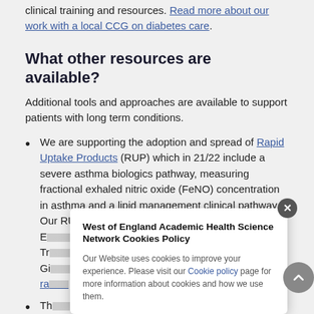clinical training and resources. Read more about our work with a local CCG on diabetes care.
What other resources are available?
Additional tools and approaches are available to support patients with long term conditions.
We are supporting the adoption and spread of Rapid Uptake Products (RUP) which in 21/22 include a severe asthma biologics pathway, measuring fractional exhaled nitric oxide (FeNO) concentration in asthma and a lipid management clinical pathway. Our RUP leads are Clare E[...] Deputy Director [...] and [...] Tr[...] [...] el Gi[...] [...] ra[...]
Th[...] [...] oped P[...] [...] are
West of England Academic Health Science Network Cookies Policy
Our Website uses cookies to improve your experience. Please visit our Cookie policy page for more information about cookies and how we use them.